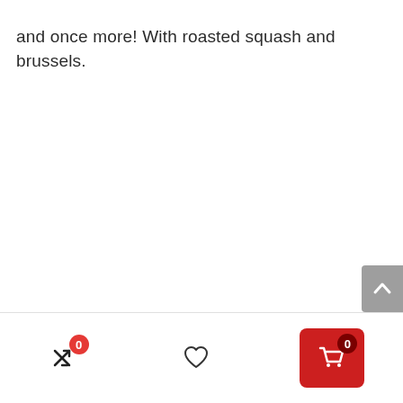and once more! With roasted squash and brussels.
[Figure (other): Scroll-to-top button (grey rounded rectangle with upward chevron arrow)]
[Figure (other): Bottom navigation bar with three icons: shuffle/compare icon with badge '0', heart/wishlist icon, and red shopping cart button with badge '0']